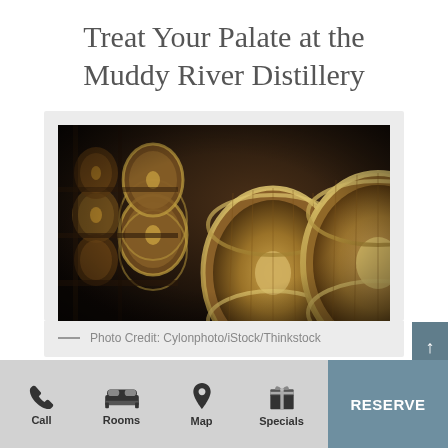Treat Your Palate at the Muddy River Distillery
[Figure (photo): Photograph of wooden whiskey barrels stacked in a distillery warehouse, viewed from a low angle. Large barrel faces are visible in the foreground with rows of smaller barrels receding into the dark background.]
Photo Credit: Cylonphoto/iStock/Thinkstock
Call  Rooms  Map  Specials  RESERVE